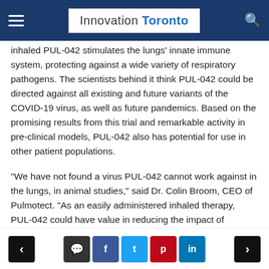Innovation Toronto
inhaled PUL-042 stimulates the lungs' innate immune system, protecting against a wide variety of respiratory pathogens. The scientists behind it think PUL-042 could be directed against all existing and future variants of the COVID-19 virus, as well as future pandemics. Based on the promising results from this trial and remarkable activity in pre-clinical models, PUL-042 also has potential for use in other patient populations.
“We have not found a virus PUL-042 cannot work against in the lungs, in animal studies,” said Dr. Colin Broom, CEO of Pulmotect. “As an easily administered inhaled therapy, PUL-042 could have value in reducing the impact of COVID-19 irrespective of the development of further variants.
< [comment] f t p in >